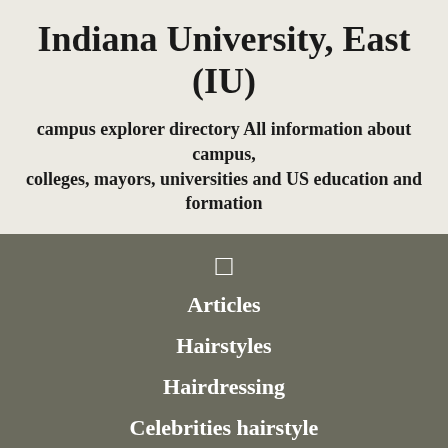Indiana University, East (IU)
campus explorer directory All information about campus, colleges, mayors, universities and US education and formation
[Figure (other): Small square/box icon in white on gray background]
Articles
Hairstyles
Hairdressing
Celebrities hairstyle